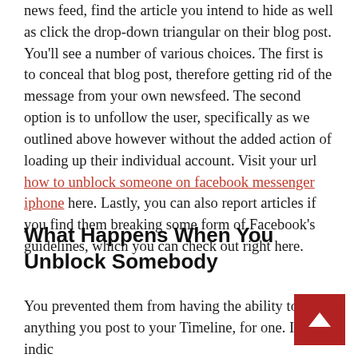news feed, find the article you intend to hide as well as click the drop-down triangular on their blog post. You'll see a number of various choices. The first is to conceal that blog post, therefore getting rid of the message from your own newsfeed. The second option is to unfollow the user, specifically as we outlined above however without the added action of loading up their individual account. Visit your url how to unblock someone on facebook messenger iphone here. Lastly, you can also report articles if you find them breaking some form of Facebook's guidelines, which you can check out right here.
What Happens When You Unblock Somebody
You prevented them from having the ability to see anything you post to your Timeline, for one. It indicates there is a technological mistake or the person you have...